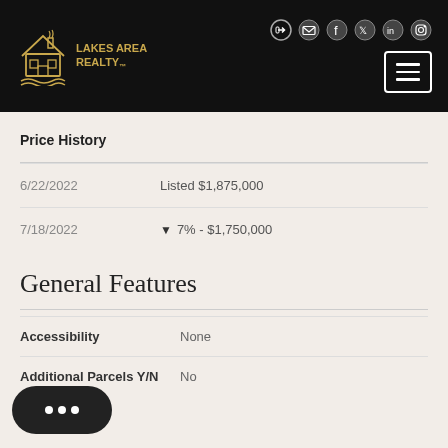Lakes Area Realty
Price History
| Date | Event |
| --- | --- |
| 6/22/2022 | Listed $1,875,000 |
| 7/18/2022 | ▼ 7% - $1,750,000 |
General Features
| Feature | Value |
| --- | --- |
| Accessibility | None |
| Additional Parcels Y/N | No |